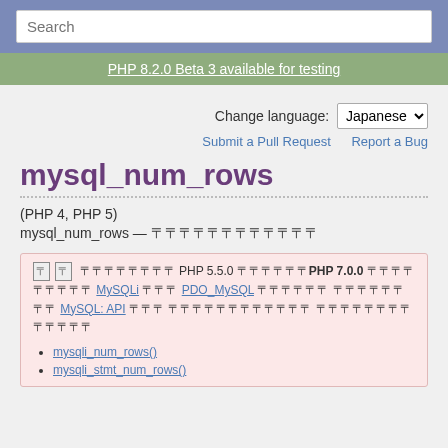Search
PHP 8.2.0 Beta 3 available for testing
Change language: Japanese
Submit a Pull Request   Report a Bug
mysql_num_rows
(PHP 4, PHP 5)
mysql_num_rows — [garbled Japanese text]
[Deprecation notice box] This extension was deprecated in PHP 5.5.0, and it was removed in PHP 7.0.0. Instead, the MySQLi or PDO_MySQL extension should be used. See also MySQL: API Guide and the FAQ for more information. Alternatives to this function include: mysqli_num_rows(), mysqli_stmt_num_rows()